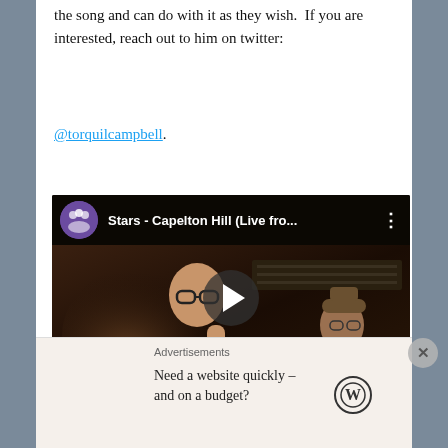the song and can do with it as they wish.  If you are interested, reach out to him on twitter:
@torquilcampbell.
[Figure (screenshot): YouTube video embed showing 'Stars - Capelton Hill (Live fro...' with play button overlay. Shows a man singing in a recording studio with another person at a keyboard in the background.]
Stars will be streaming a release-day performance of
Advertisements
Need a website quickly – and on a budget?